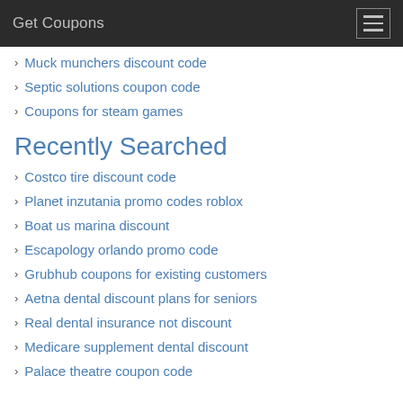Get Coupons
Muck munchers discount code
Septic solutions coupon code
Coupons for steam games
Recently Searched
Costco tire discount code
Planet inzutania promo codes roblox
Boat us marina discount
Escapology orlando promo code
Grubhub coupons for existing customers
Aetna dental discount plans for seniors
Real dental insurance not discount
Medicare supplement dental discount
Palace theatre coupon code